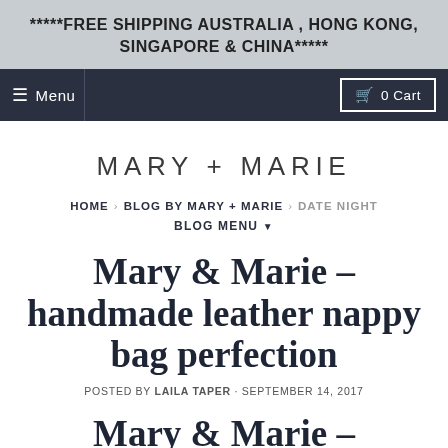*****FREE SHIPPING AUSTRALIA , HONG KONG, SINGAPORE & CHINA*****
≡ Menu   🛒 0 Cart
MARY + MARIE
HOME › BLOG BY MARY + MARIE › DATE NIGHT
BLOG MENU ▼
Mary & Marie – handmade leather nappy bag perfection
POSTED BY LAILA TAPER · SEPTEMBER 14, 2017
Mary & Marie – handmade